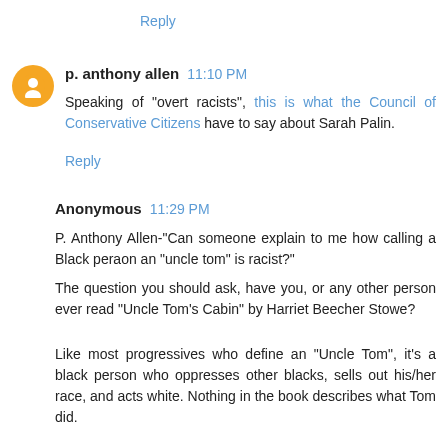Reply
p. anthony allen  11:10 PM
Speaking of "overt racists", this is what the Council of Conservative Citizens have to say about Sarah Palin.
Reply
Anonymous  11:29 PM
P. Anthony Allen-"Can someone explain to me how calling a Black peraon an "uncle tom" is racist?"
The question you should ask, have you, or any other person ever read "Uncle Tom's Cabin" by Harriet Beecher Stowe?
Like most progressives who define an "Uncle Tom", it's a black person who oppresses other blacks, sells out his/her race, and acts white. Nothing in the book describes what Tom did.